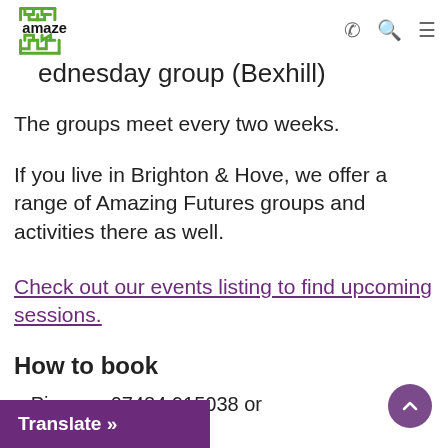amaze [logo and navigation icons]
...ednesday group (Bexhill)
The groups meet every two weeks.
If you live in Brighton & Hove, we offer a range of Amazing Futures groups and activities there as well.
Check out our events listing to find upcoming sessions.
How to book
...e Piper on 07484 915038 or
Translate »